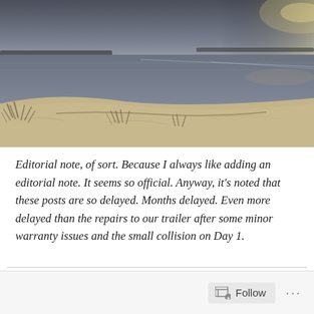[Figure (photo): Coastal beach scene with sandy shore, sparse beach grass, calm water, distant shoreline, and overcast sky with light on the horizon]
Editorial note, of sort. Because I always like adding an editorial note. It seems so official. Anyway, it’s noted that these posts are so delayed. Months delayed. Even more delayed than the repairs to our trailer after some minor warranty issues and the small collision on Day 1.
Follow ...